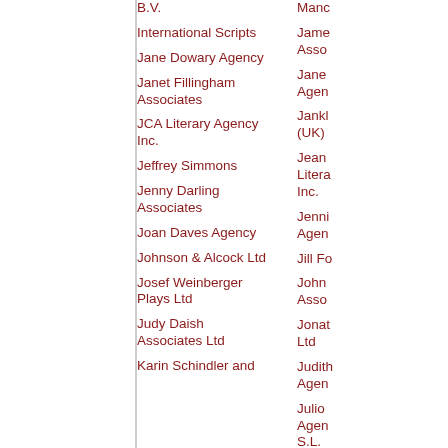International Scripts
Jane Dowary Agency
Janet Fillingham Associates
JCA Literary Agency Inc.
Jeffrey Simmons
Jenny Darling Associates
Joan Daves Agency
Johnson & Alcock Ltd
Josef Weinberger Plays Ltd
Judy Daish Associates Ltd
Karin Schindler and
B.V.
James Asso
Jane Agen
Jankl (UK)
Jean Litera Inc.
Jenni Agen
Jill Fo
John Asso
Jonat Ltd
Judith Agen
Julio Agen S.L.
Kelle